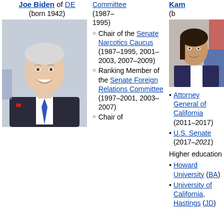Joe Biden of DE (born 1942)
[Figure (photo): Portrait photo of Joe Biden smiling, wearing a dark suit and blue tie]
Committee (1987–1995)
Chair of the Senate Narcotics Caucus (1987–1995, 2001–2003, 2007–2009)
Ranking Member of the Senate Foreign Relations Committee (1997–2001, 2003–2007)
Chair of
Attorney General of California (2011–2017)
U.S. Senate (2017–2021)
Higher education
Howard University (BA)
University of California, Hastings (JD)
Kam...  (b...
[Figure (photo): Partial portrait photo of Kamala Harris]